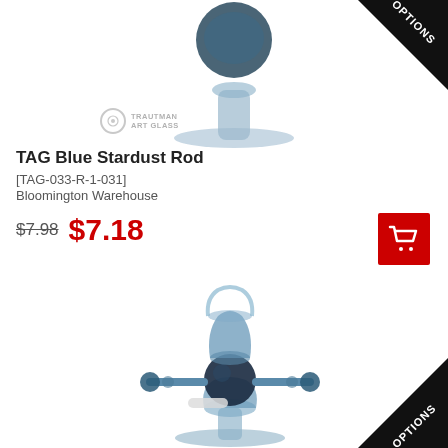[Figure (photo): Partial view of a blue art glass goblet/vessel on a pedestal base, cropped at top, with Trautman Art Glass watermark logo. Black triangle 'OPTIONS' banner in top-right corner.]
TAG Blue Stardust Rod
[TAG-033-R-1-031]
Bloomington Warehouse
$7.98 $7.18
[Figure (photo): Blue art glass goblet with decorative cross arms and sphere at center, on a pedestal foot. Orange 'WEB PRICE' triangle banner in top-left. Black 'OPTIONS' triangle banner in bottom-right corner. Trautman Art Glass watermark logo at bottom.]